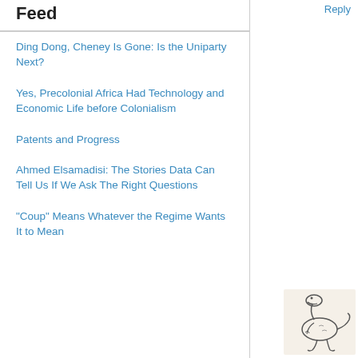Feed
Ding Dong, Cheney Is Gone: Is the Uniparty Next?
Yes, Precolonial Africa Had Technology and Economic Life before Colonialism
Patents and Progress
Ahmed Elsamadisi: The Stories Data Can Tell Us If We Ask The Right Questions
"Coup" Means Whatever the Regime Wants It to Mean
Reply
[Figure (illustration): Small hand-drawn illustration of a dinosaur (appears to be a raptor or similar theropod) in black ink sketch style, located in bottom-right corner]